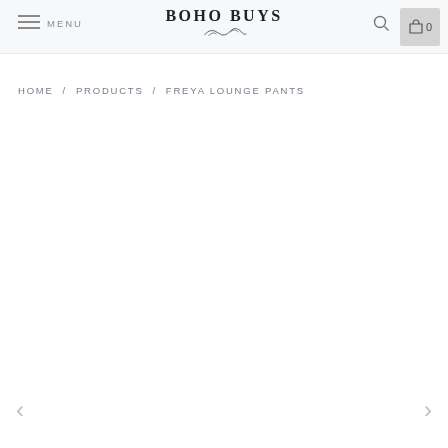BOHO BUYS — MENU / Search / Cart 0
HOME / PRODUCTS / FREYA LOUNGE PANTS